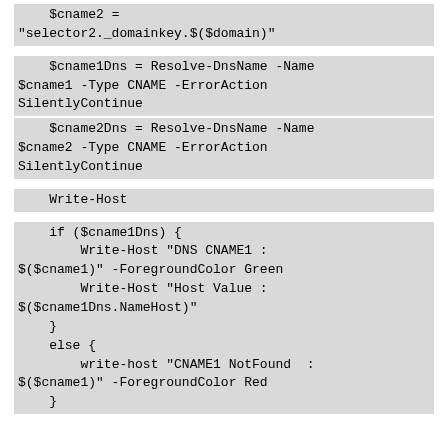$cname2 =
"selector2._domainkey.$($domain)"
$cname1Dns = Resolve-DnsName -Name
$cname1 -Type CNAME -ErrorAction
SilentlyContinue
    $cname2Dns = Resolve-DnsName -Name
$cname2 -Type CNAME -ErrorAction
SilentlyContinue
Write-Host
if ($cname1Dns) {
        Write-Host "DNS CNAME1 :
$($cname1)" -ForegroundColor Green
        Write-Host "Host Value :
$($cname1Dns.NameHost)"
    }
    else {
        write-host "CNAME1 NotFound  :
$($cname1)" -ForegroundColor Red
    }